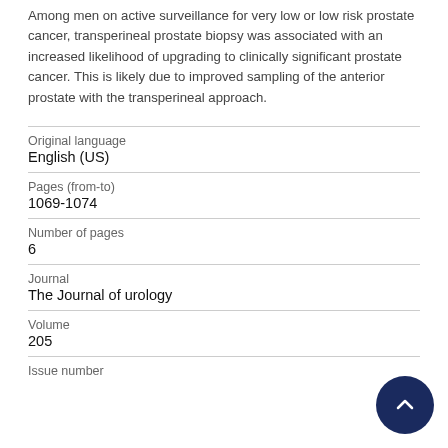Among men on active surveillance for very low or low risk prostate cancer, transperineal prostate biopsy was associated with an increased likelihood of upgrading to clinically significant prostate cancer. This is likely due to improved sampling of the anterior prostate with the transperineal approach.
| Field | Value |
| --- | --- |
| Original language | English (US) |
| Pages (from-to) | 1069-1074 |
| Number of pages | 6 |
| Journal | The Journal of urology |
| Volume | 205 |
| Issue number |  |